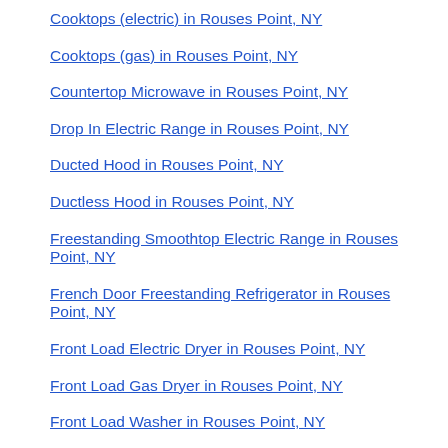Cooktops (electric) in Rouses Point, NY
Cooktops (gas) in Rouses Point, NY
Countertop Microwave in Rouses Point, NY
Drop In Electric Range in Rouses Point, NY
Ducted Hood in Rouses Point, NY
Ductless Hood in Rouses Point, NY
Freestanding Smoothtop Electric Range in Rouses Point, NY
French Door Freestanding Refrigerator in Rouses Point, NY
Front Load Electric Dryer in Rouses Point, NY
Front Load Gas Dryer in Rouses Point, NY
Front Load Washer in Rouses Point, NY
Less Than 5,600 BTU Air Conditioner in Rouses Point, NY